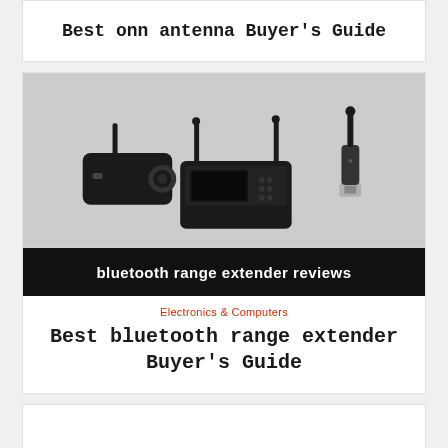Best onn antenna Buyer's Guide
[Figure (photo): Three bluetooth range extender devices on gray background: a black transmitter/receiver unit on the left, a black multi-antenna hub/router in the center, and a small USB wireless adapter on the right. Below is a black banner with white bold text reading 'bluetooth range extender reviews'.]
Electronics & Computers
Best bluetooth range extender Buyer's Guide